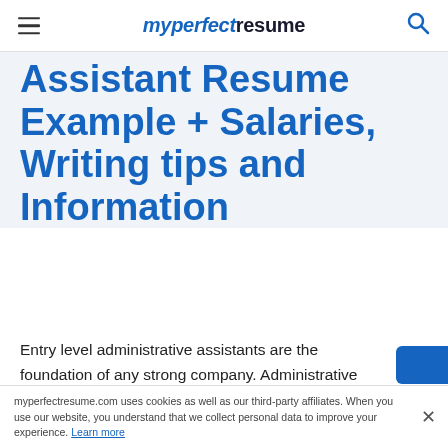myperfectresume
Assistant Resume Example + Salaries, Writing tips and Information
Entry level administrative assistants are the foundation of any strong company. Administrative assistants are responsible for a variety of tasks, including offering administrative support, completing scheduling, and organizing travel. Although competition for these positions can be fierce, a stellar resume can help you
myperfectresume.com uses cookies as well as our third-party affiliates. When you use our website, you understand that we collect personal data to improve your experience. Learn more